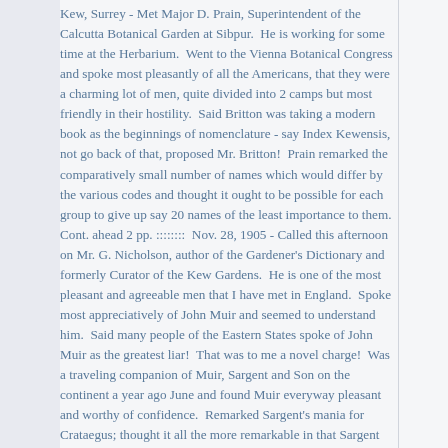Kew, Surrey - Met Major D. Prain, Superintendent of the Calcutta Botanical Garden at Sibpur.  He is working for some time at the Herbarium.  Went to the Vienna Botanical Congress and spoke most pleasantly of all the Americans, that they were a charming lot of men, quite divided into 2 camps but most friendly in their hostility.  Said Britton was taking a modern book as the beginnings of nomenclature - say Index Kewensis, not go back of that, proposed Mr. Britton!  Prain remarked the comparatively small number of names which would differ by the various codes and thought it ought to be possible for each group to give up say 20 names of the least importance to them.
Cont. ahead 2 pp. ::::::::  Nov. 28, 1905 - Called this afternoon on Mr. G. Nicholson, author of the Gardener's Dictionary and formerly Curator of the Kew Gardens.  He is one of the most pleasant and agreeable men that I have met in England.  Spoke most appreciatively of John Muir and seemed to understand him.  Said many people of the Eastern States spoke of John Muir as the greatest liar!  That was to me a novel charge!  Was a traveling companion of Muir, Sargent and Son on the continent a year ago June and found Muir everyway pleasant and worthy of confidence.  Remarked Sargent's mania for Crataegus; thought it all the more remarkable in that Sargent was so hard to convince as to the existence of 3 Benthamian